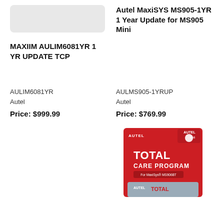[Figure (photo): Product image placeholder for MAXIIM AULIM6081YR device, light gray rounded rectangle]
MAXIIM AULIM6081YR 1 YR UPDATE TCP
AULIM6081YR
Autel
Price: $999.99
Autel MaxiSYS MS905-1YR 1 Year Update for MS905 Mini
AULMS905-1YRUP
Autel
Price: $769.99
[Figure (photo): Autel Total Care Program red retail card package showing TOTAL CARE PROGRAM text, for MaxiSys MS906BT, with a card visible at bottom]